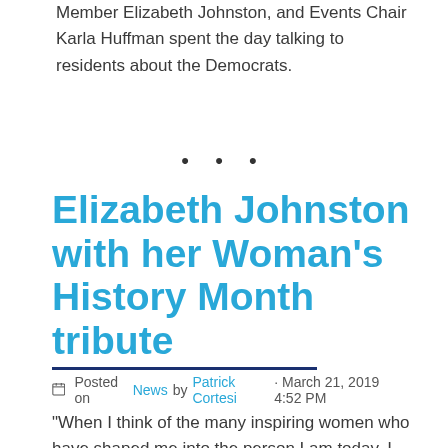Member Elizabeth Johnston, and Events Chair Karla Huffman spent the day talking to residents about the Democrats.
• • •
Elizabeth Johnston with her Woman's History Month tribute
Posted on News by Patrick Cortesi · March 21, 2019 4:52 PM
"When I think of the many inspiring women who have shaped me into the person I am today, I keep coming